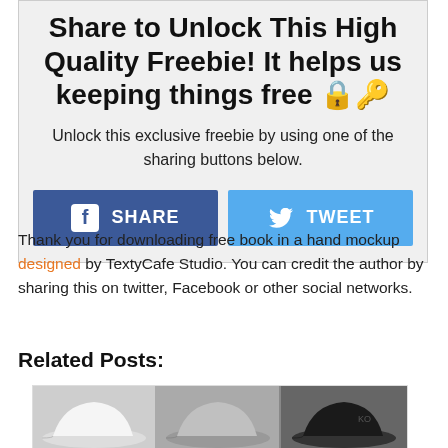Share to Unlock This High Quality Freebie! It helps us keeping things free 🔒🔑
Unlock this exclusive freebie by using one of the sharing buttons below.
[Figure (infographic): Two social sharing buttons: a blue Facebook SHARE button and a light blue Twitter TWEET button]
Thank you for downloading free book in a hand mockup designed by TextyCafe Studio. You can credit the author by sharing this on twitter, Facebook or other social networks.
Related Posts:
[Figure (photo): Three baseball caps in grayscale: white cap, gray cap, black cap side by side]